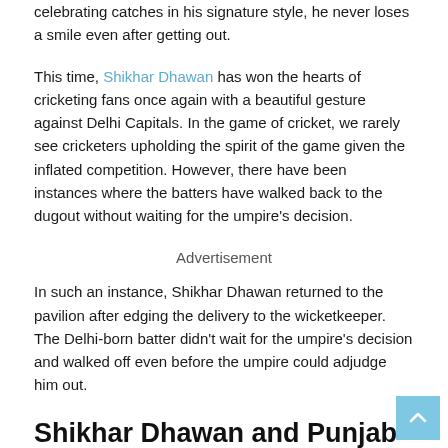celebrating catches in his signature style, he never loses a smile even after getting out.
This time, Shikhar Dhawan has won the hearts of cricketing fans once again with a beautiful gesture against Delhi Capitals. In the game of cricket, we rarely see cricketers upholding the spirit of the game given the inflated competition. However, there have been instances where the batters have walked back to the dugout without waiting for the umpire's decision.
Advertisement
In such an instance, Shikhar Dhawan returned to the pavilion after edging the delivery to the wicketkeeper. The Delhi-born batter didn't wait for the umpire's decision and walked off even before the umpire could adjudge him out.
Shikhar Dhawan and Punjab